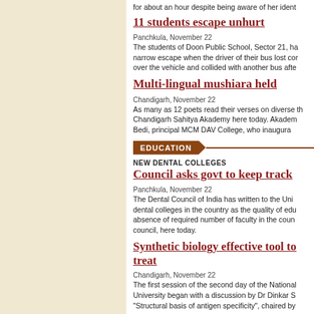for about an hour despite being aware of her ident
11 students escape unhurt
Panchkula, November 22
The students of Doon Public School, Sector 21, ha narrow escape when the driver of their bus lost co over the vehicle and collided with another bus afte
Multi-lingual mushiara held
Chandigarh, November 22
As many as 12 poets read their verses on diverse th Chandigarh Sahitya Akademy here today. Akadem Bedi, principal MCM DAV College, who inaugura
EDUCATION
NEW DENTAL COLLEGES
Council asks govt to keep track
Panchkula, November 22
The Dental Council of India has written to the Uni dental colleges in the country as the quality of edu absence of required number of faculty in the coun council, here today.
Synthetic biology effective tool to treat
Chandigarh, November 22
The first session of the second day of the National University began with a discussion by Dr Dinkar S "Structural basis of antigen specificity", chaired by